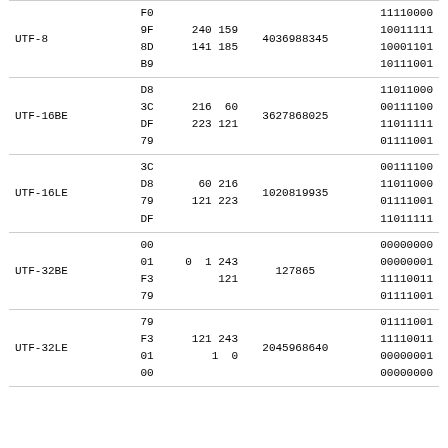| Encoding | Hex | Decimal | Number | Binary |
| --- | --- | --- | --- | --- |
| UTF-8 | F0
9F
8D
B9 | 240 159
141 185 | 4036988345 | 11110000
10011111
10001101
10111001 |
| UTF-16BE | D8
3C
DF
79 | 216  60
223 121 | 3627868025 | 11011000
00111100
11011111
01111001 |
| UTF-16LE | 3C
D8
79
DF |  60 216
121 223 | 1020819935 | 00111100
11011000
01111001
11011111 |
| UTF-32BE | 00
01
F3
79 |   0   1 243
      121 | 127865 | 00000000
00000001
11110011
01111001 |
| UTF-32LE | 79
F3
01
00 | 121 243
      1   0 | 2045968640 | 01111001
11110011
00000001
00000000 |